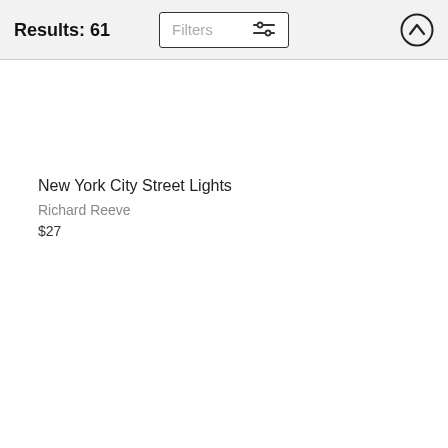Results: 61
New York City Street Lights
Richard Reeve
$27